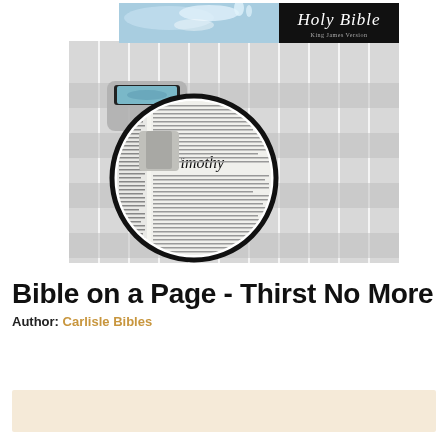[Figure (photo): Product image of Bible on a Page - Thirst No More. Shows a Bible page compressed into a small cylinder with a magnifying lens on top displaying 'II Timothy'. Top portion shows water splashing and a Holy Bible logo on black background. Background shows columns of fine grey text.]
Bible on a Page - Thirst No More
Author: Carlisle Bibles